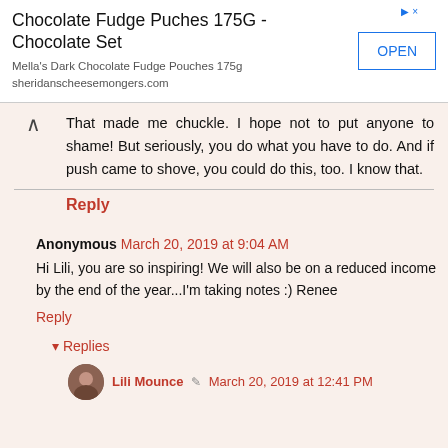[Figure (other): Advertisement banner: Chocolate Fudge Puches 175G - Chocolate Set. Mella's Dark Chocolate Fudge Pouches 175g sheridanscheesemongers.com. With an OPEN button.]
That made me chuckle. I hope not to put anyone to shame! But seriously, you do what you have to do. And if push came to shove, you could do this, too. I know that.
Reply
Anonymous March 20, 2019 at 9:04 AM
Hi Lili, you are so inspiring! We will also be on a reduced income by the end of the year...I'm taking notes :) Renee
Reply
▾ Replies
Lili Mounce ✎ March 20, 2019 at 12:41 PM